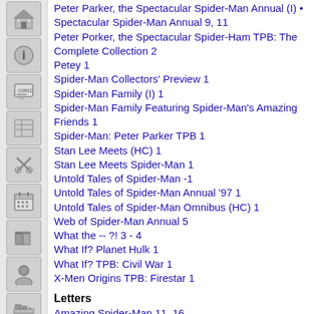Peter Parker, the Spectacular Spider-Man Annual (I) • Spectacular Spider-Man Annual 9, 11
Peter Porker, the Spectacular Spider-Ham TPB: The Complete Collection 2
Petey 1
Spider-Man Collectors' Preview 1
Spider-Man Family (I) 1
Spider-Man Family Featuring Spider-Man's Amazing Friends 1
Spider-Man: Peter Parker TPB 1
Stan Lee Meets (HC) 1
Stan Lee Meets Spider-Man 1
Untold Tales of Spider-Man -1
Untold Tales of Spider-Man Annual '97 1
Untold Tales of Spider-Man Omnibus (HC) 1
Web of Spider-Man Annual 5
What the -- ?! 3 - 4
What If? Planet Hulk 1
What If? TPB: Civil War 1
X-Men Origins TPB: Firestar 1
Letters
Amazing Spider-Man 11, 16
Fantastic Four (HC) By Dan Slott 1
Fantastic Four TPB (IV) 2
Fantastic Four: Wedding Special (II) 1
Fred Hembeck Sells the Marvel Universe 1
House of Hem 1
Hulk Annual '99 1